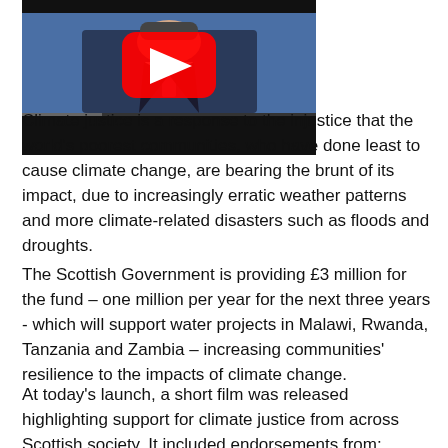[Figure (screenshot): YouTube video thumbnail showing a man in a suit speaking at a podium, with a YouTube play button overlay. Background shows a blue setting.]
Climate justice is a response to the injustice that the world's poorest communities, who have done least to cause climate change, are bearing the brunt of its impact, due to increasingly erratic weather patterns and more climate-related disasters such as floods and droughts.
The Scottish Government is providing £3 million for the fund – one million per year for the next three years - which will support water projects in Malawi, Rwanda, Tanzania and Zambia – increasing communities' resilience to the impacts of climate change.
At today's launch, a short film was released highlighting support for climate justice from across Scottish society. It included endorsements from: SCIAF, Stop Climate Chaos Scotland, Oxfam Scotland, Amnesty International, Christian